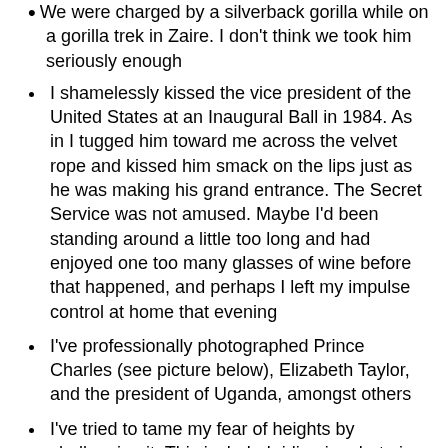We were charged by a silverback gorilla while on a gorilla trek in Zaire. I don't think we took him seriously enough
I shamelessly kissed the vice president of the United States at an Inaugural Ball in 1984. As in I tugged him toward me across the velvet rope and kissed him smack on the lips just as he was making his grand entrance. The Secret Service was not amused. Maybe I'd been standing around a little too long and had enjoyed one too many glasses of wine before that happened, and perhaps I left my impulse control at home that evening
I've professionally photographed Prince Charles (see picture below), Elizabeth Taylor, and the president of Uganda, amongst others
I've tried to tame my fear of heights by challenging it. This included riding in a hot air balloon over the Masai Mara in East Africa; participating in the trapeze classes at a Club Med (and being selected for the weekly trapeze show—I was all for it till they made me don bright blue spandex, which was a sorry sight for all to see); ziplining in Hawaii, which didn't freak me out too much, although